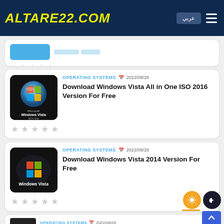ALTARE22.COM
[Figure (screenshot): Partially visible card with blue button thumbnail and 5 empty star rating]
[Figure (screenshot): Windows Vista All in One ISO card thumbnail - black background with Windows Vista sphere logo]
OPERATING SYSTEMS  2022/08/28
Download Windows Vista All in One ISO 2016 Version For Free
[Figure (screenshot): Windows Vista 2014 card thumbnail - black background with Windows Vista logo]
OPERATING SYSTEMS  2022/08/28
Download Windows Vista 2014 Version For Free
[Figure (screenshot): Partial bottom card with Windows Vista thumbnail and OPERATING SYSTEMS label]